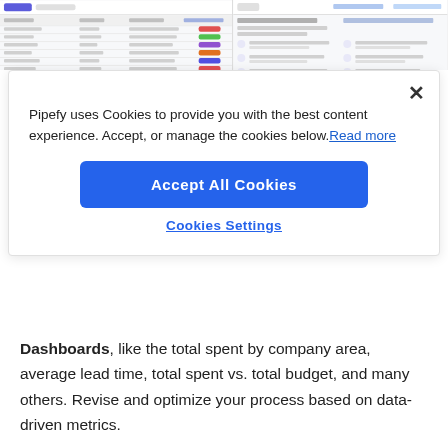[Figure (screenshot): Two side-by-side screenshots of a web application interface (Pipefy), partially visible at the top of the page, showing a table/list view on the left and a settings/detail panel on the right.]
Pipefy uses Cookies to provide you with the best content experience. Accept, or manage the cookies below. Read more
Accept All Cookies
Cookies Settings
Dashboards, like the total spent by company area, average lead time, total spent vs. total budget, and many others. Revise and optimize your process based on data-driven metrics.